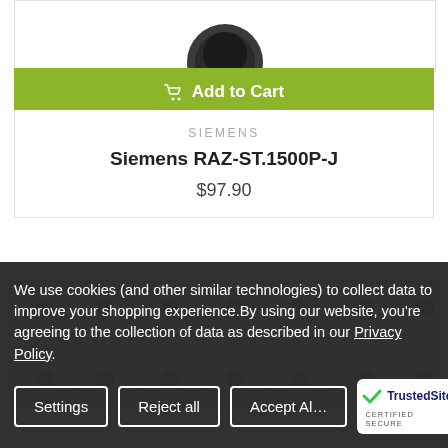[Figure (photo): Product image partially visible at top of card showing a dark component]
Add to Cart
SIEMENS
Siemens RAZ-ST.1500P-J
$97.90
[Figure (photo): Blurred product image showing what appears to be a row of circuit breakers or similar industrial components]
We use cookies (and other similar technologies) to collect data to improve your shopping experience.By using our website, you're agreeing to the collection of data as described in our Privacy Policy.
Settings
Reject all
Accept All
[Figure (logo): TrustedSite CERTIFIED SECURE badge]